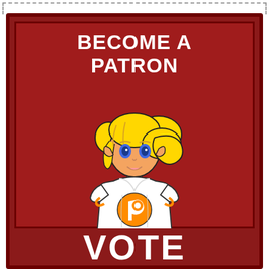[Figure (illustration): Promotional card with dark red background featuring a cartoon anime-style blonde female character wearing a white t-shirt with the Patreon logo (orange P symbol). The character has blue eyes, pointy elf-like ears, and is shown from the waist up. Text at top reads 'BECOME A PATRON' and at the bottom 'VOTE' in large white bold letters.]